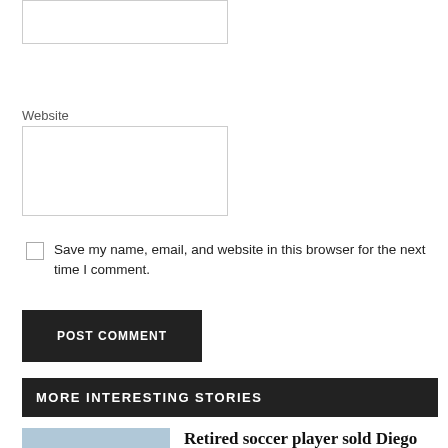Website
Save my name, email, and website in this browser for the next time I comment.
POST COMMENT
MORE INTERESTING STORIES
Retired soccer player sold Diego Maradona's